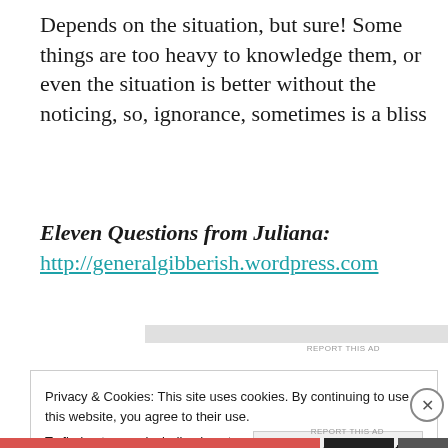Depends on the situation, but sure! Some things are too heavy to knowledge them, or even the situation is better without the noticing, so, ignorance, sometimes is a bliss
Eleven Questions from Juliana:
http://generalgibberish.wordpress.com
Privacy & Cookies: This site uses cookies. By continuing to use this website, you agree to their use.
To find out more, including how to control cookies, see here: Cookie Policy
Close and accept